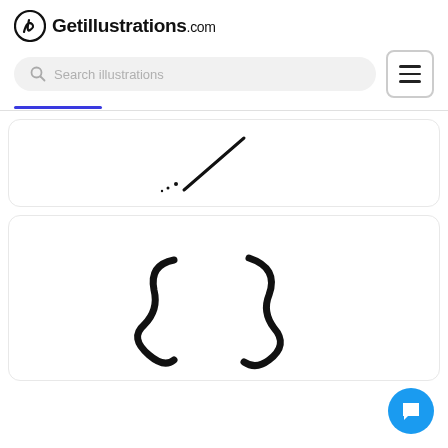Getillustrations.com
Search illustrations
[Figure (illustration): Partial illustration card showing a diagonal dashed/dotted line sketch on white background]
[Figure (illustration): Illustration card showing hand-drawn curly/swirly number or letter shapes in black ink on white background]